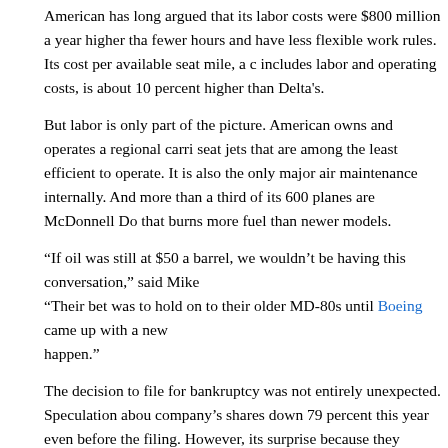American has long argued that its labor costs were $800 million a year higher than competitors because its workers fly fewer hours and have less flexible work rules. Its cost per available seat mile, a comprehensive measure that includes labor and operating costs, is about 10 percent higher than Delta's.
But labor is only part of the picture. American owns and operates a regional carrier that flies small 50-seat jets that are among the least efficient to operate. It is also the only major airline that does all of its maintenance internally. And more than a third of its 600 planes are McDonnell Douglas MD-80s, a model that burns more fuel than newer models.
“If oil was still at $50 a barrel, we wouldn’t be having this conversation,” said Mike. “Their bet was to hold on to their older MD-80s until Boeing came up with a new model. That didn’t happen.”
The decision to file for bankruptcy was not entirely unexpected. Speculation about it had driven the company’s shares down 79 percent this year even before the filing. However, its timing came as a surprise because they thought the company had enough cash to finance its operations for several more months.
Mr. Horton said in an interview that AMR’s board did not want to wait. “This was the time to act from a position of relative strength,” he said. As of Sept. 30, AMR had $24.7 billion in assets and $29.6 billion in liabilities, according to its filing with the Federal Bankruptcy Court in Manhattan. Creditors include the holders of the airline’s bonds and companies like General Electric that leased aircraft to the airline.
The airline managed to avoid filing for bankruptcy in 2003 after it obtained major concessions from workers, including lower pay for its pilots. But talks for a new contract had been dragging on. The latest round of airline contract talks had the pilots demanding far better pay.